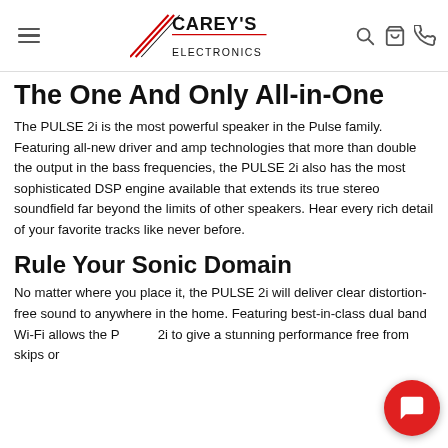Carey's Electronics — navigation header with hamburger menu, logo, search, cart, phone icons
The One And Only All-in-One
The PULSE 2i is the most powerful speaker in the Pulse family. Featuring all-new driver and amp technologies that more than double the output in the bass frequencies, the PULSE 2i also has the most sophisticated DSP engine available that extends its true stereo soundfield far beyond the limits of other speakers. Hear every rich detail of your favorite tracks like never before.
Rule Your Sonic Domain
No matter where you place it, the PULSE 2i will deliver clear distortion-free sound to anywhere in the home. Featuring best-in-class dual band Wi-Fi allows the PULSE 2i to give a stunning performance free from skips or